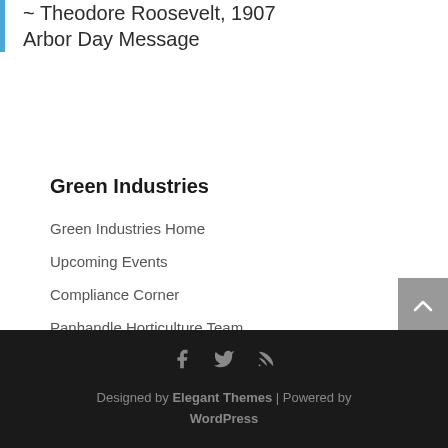~ Theodore Roosevelt, 1907 Arbor Day Message
Green Industries
Green Industries Home
Upcoming Events
Compliance Corner
Panhandle Horticulture Team
Designed by Elegant Themes | Powered by WordPress